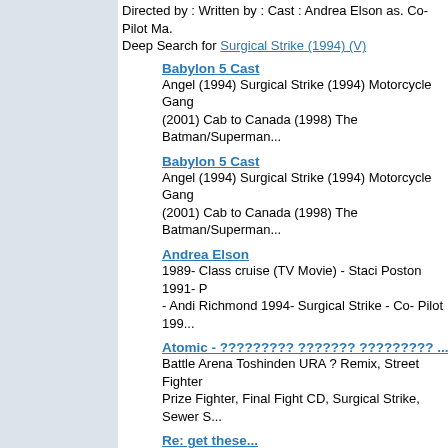Directed by : Written by : Cast : Andrea Elson as. Co-Pilot Ma. Deep Search for Surgical Strike (1994) (V)
Babylon 5 Cast
Angel (1994) Surgical Strike (1994) Motorcycle Gang (2001) Cab to Canada (1998) The Batman/Superman...
Babylon 5 Cast
Angel (1994) Surgical Strike (1994) Motorcycle Gang (2001) Cab to Canada (1998) The Batman/Superman...
Andrea Elson
1989- Class cruise (TV Movie) - Staci Poston 1991- ... - Andi Richmond 1994- Surgical Strike - Co- Pilot 199...
Atomic - ????????? ??????? ????????? ...
Battle Arena Toshinden URA ? Remix, Street Fighter Prize Fighter, Final Fight CD, Surgical Strike, Sewer S...
Re: get these...
Your Reply: : : Tomcat Alley : : Surgical Strike : : and gamefaqs for an almost complete collection of known...
ABC's Surgical Strike Still Can't Beat Fox on Wed.
ABC's Surgical Strike Still Can't Beat Fox on Wed.
Search Score - 55%
Oh God. Please Don't Let Me Strike Out (1993)
Directed by : Gregory J. Lanesey Written by :Gregory J. Lane. Trim
Deep Search for Oh God. Please Don't Let Me Strike Out (19...